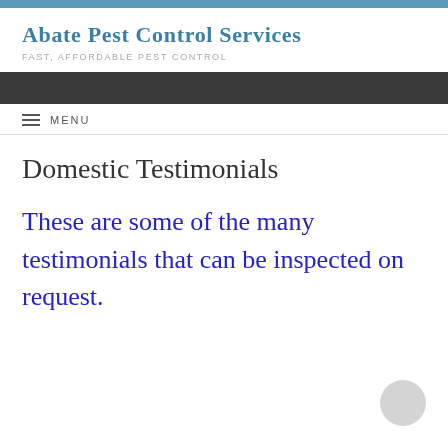Abate Pest Control Services
FAST, AFFORDABLE PEST CONTROL
MENU
Domestic Testimonials
These are some of the many testimonials that can be inspected on request.